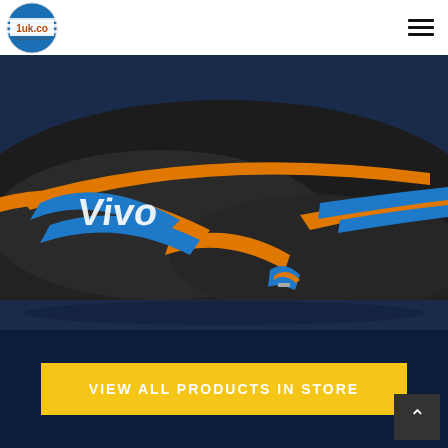[Figure (logo): 1uk.co Express Boat Sales circular logo with horizontal stripes and blue globe design]
[Figure (photo): Close-up photo of a jet ski / personal watercraft with orange, blue and white graphic decals on dark hull, taken from above at an angle. The word 'Vivo' is visible in the decals.]
VIEW ALL PRODUCTS IN STORE